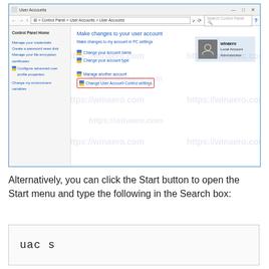[Figure (screenshot): Windows User Accounts Control Panel screenshot showing 'Make changes to your user account' options, with 'Change User Account Control settings' highlighted in a red rectangle. Left nav shows Control Panel Home links. Right side shows user profile card for winaero with Local Account Administrator. Watermark 'https://winaero.com' repeated across lower portion.]
Alternatively, you can click the Start button to open the Start menu and type the following in the Search box:
uac s